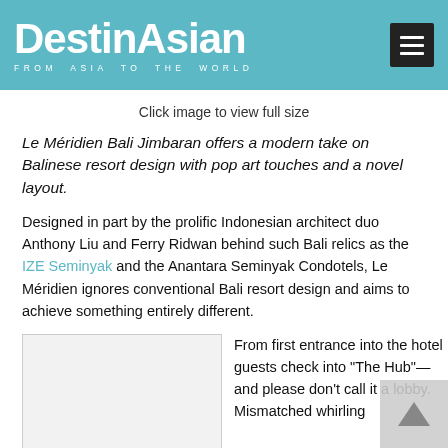DestinAsian FROM ASIA TO THE WORLD
Click image to view full size
Le Méridien Bali Jimbaran offers a modern take on Balinese resort design with pop art touches and a novel layout.
Designed in part by the prolific Indonesian architect duo Anthony Liu and Ferry Ridwan behind such Bali relics as the IZE Seminyak and the Anantara Seminyak Condotels, Le Méridien ignores conventional Bali resort design and aims to achieve something entirely different.
[Figure (photo): Placeholder image of Le Méridien Bali Jimbaran hotel]
From first entrance into the hotel guests check into "The Hub"—and please don't call it a lobby. Mismatched whirling